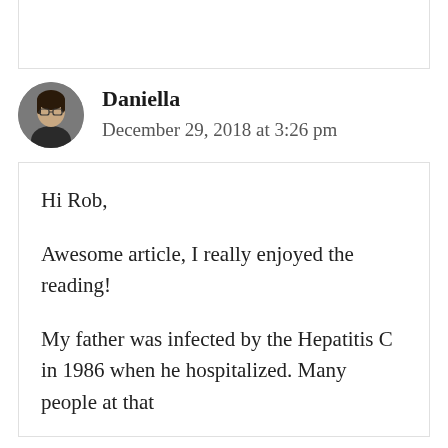[Figure (photo): Circular avatar photo of a woman with dark hair and glasses, dark clothing, against a neutral background]
Daniella
December 29, 2018 at 3:26 pm
Hi Rob,

Awesome article, I really enjoyed the reading!

My father was infected by the Hepatitis C in 1986 when he hospitalized. Many people at that